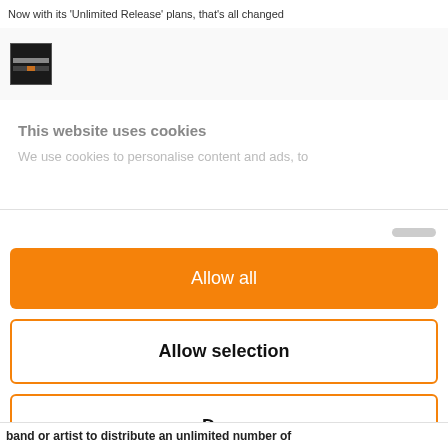Now with its 'Unlimited Release' plans, that's all changed
[Figure (screenshot): Small thumbnail image showing a dark background with an orange/brown horizontal bar element]
This website uses cookies
We use cookies to personalise content and ads, to
Allow all
Allow selection
Deny
Powered by Cookiebot by Usercentrics
band or artist to distribute an unlimited number of